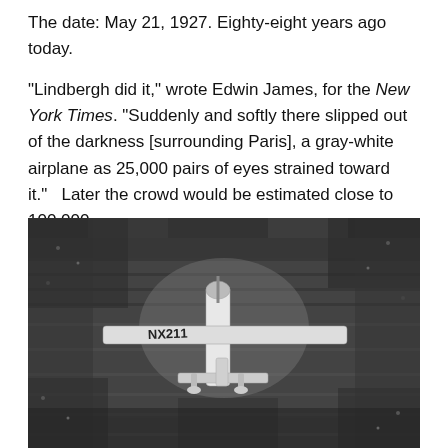The date: May 21, 1927. Eighty-eight years ago today.
“Lindbergh did it,” wrote Edwin James, for the New York Times. “Suddenly and softly there slipped out of the darkness [surrounding Paris], a gray-white airplane as 25,000 pairs of eyes strained toward it.”   Later the crowd would be estimated close to 100,000.
[Figure (photo): Black and white aerial photograph showing Lindbergh's Spirit of St. Louis airplane (registration NX211) surrounded by a massive crowd of approximately 100,000 people on the airfield at Le Bourget, Paris, after landing on May 21, 1927.]